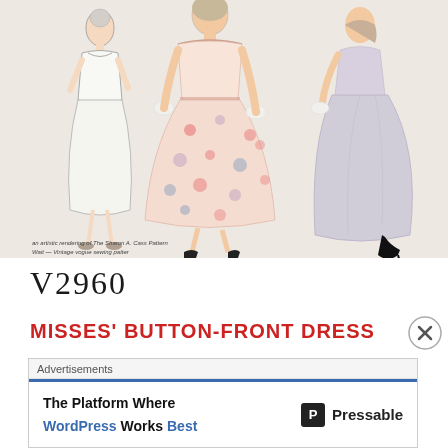[Figure (illustration): Vintage fashion illustration showing three women in 1950s style dresses. Center figure wears a floral print full-skirted dress, left figure shows back view in plain white dress, right figure wears a lavender/grey full-skirted dress with gloves.]
an artistic rendering of The Sharon A. Cass Pattern / Wait — Vintage vogue sewing patter / Wait — mentions in the Sharon A. Cass Pattern
V2960
MISSES' BUTTON-FRONT DRESS
Advertisements
[Figure (screenshot): Advertisement banner: 'The Platform Where WordPress Works Best' by Pressable, with blue top border and Pressable logo on right.]